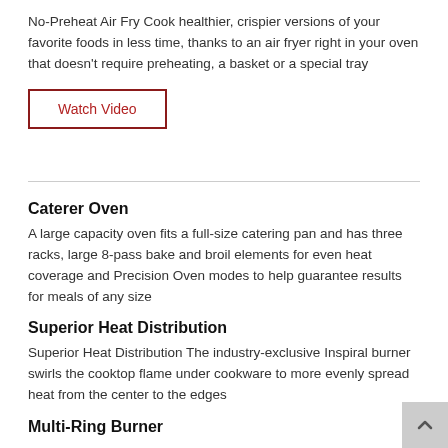No-Preheat Air Fry Cook healthier, crispier versions of your favorite foods in less time, thanks to an air fryer right in your oven that doesn't require preheating, a basket or a special tray
Watch Video
Caterer Oven
A large capacity oven fits a full-size catering pan and has three racks, large 8-pass bake and broil elements for even heat coverage and Precision Oven modes to help guarantee results for meals of any size
Superior Heat Distribution
Superior Heat Distribution The industry-exclusive Inspiral burner swirls the cooktop flame under cookware to more evenly spread heat from the center to the edges
Multi-Ring Burner